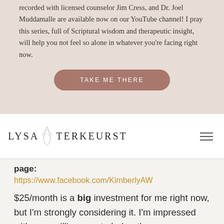recorded with licensed counselor Jim Cress, and Dr. Joel Muddamalle are available now on our YouTube channel! I pray this series, full of Scriptural wisdom and therapeutic insight, will help you not feel so alone in whatever you're facing right now.
TAKE ME THERE
[Figure (logo): Lysa TerKeurst website logo with botanical leaf illustration and hamburger menu icon]
page:
https://www.facebook.com/KimberlyAW
$25/month is a big investment for me right now, but I'm strongly considering it. I'm impressed with your willingness to help others, your willingness to share from